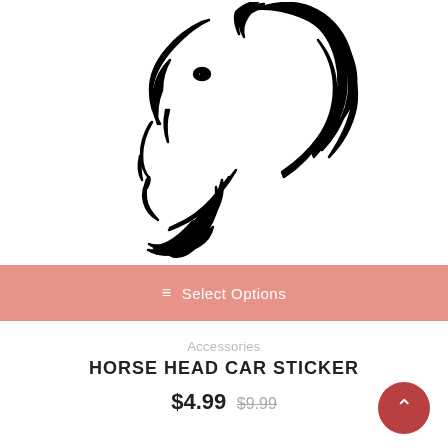[Figure (illustration): Black and white line art illustration of a horse head with flowing mane, facing left, with decorative swirling mane details]
≡ Select Options
Accessories
HORSE HEAD CAR STICKER
$4.99 $9.99